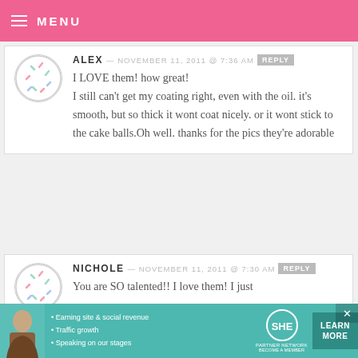MENU
ALEX — NOVEMBER 11, 2011 @ 7:36 AM REPLY
I LOVE them! how great! I still can't get my coating right, even with the oil. it's smooth, but so thick it wont coat nicely. or it wont stick to the cake balls.Oh well. thanks for the pics they're adorable
NICHOLE — NOVEMBER 11, 2011 @ 7:30 AM REPLY
You are SO talented!! I love them! I just
[Figure (infographic): SHE Partner Network advertisement banner with photo of woman, bullet points about earning site & social revenue, traffic growth, speaking on stages, SHE logo, and Learn More button]